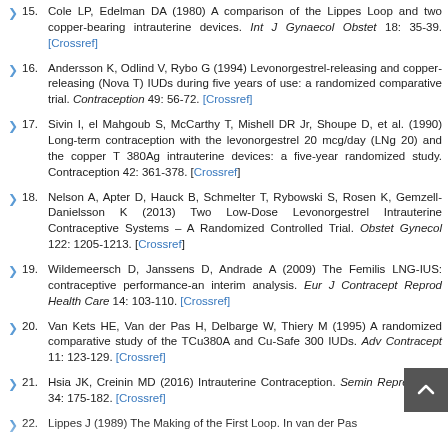15. Cole LP, Edelman DA (1980) A comparison of the Lippes Loop and two copper-bearing intrauterine devices. Int J Gynaecol Obstet 18: 35-39. [Crossref]
16. Andersson K, Odlind V, Rybo G (1994) Levonorgestrel-releasing and copper-releasing (Nova T) IUDs during five years of use: a randomized comparative trial. Contraception 49: 56-72. [Crossref]
17. Sivin I, el Mahgoub S, McCarthy T, Mishell DR Jr, Shoupe D, et al. (1990) Long-term contraception with the levonorgestrel 20 mcg/day (LNg 20) and the copper T 380Ag intrauterine devices: a five-year randomized study. Contraception 42: 361-378. [Crossref]
18. Nelson A, Apter D, Hauck B, Schmelter T, Rybowski S, Rosen K, Gemzell-Danielsson K (2013) Two Low-Dose Levonorgestrel Intrauterine Contraceptive Systems – A Randomized Controlled Trial. Obstet Gynecol 122: 1205-1213. [Crossref]
19. Wildemeersch D, Janssens D, Andrade A (2009) The Femilis LNG-IUS: contraceptive performance-an interim analysis. Eur J Contracept Reprod Health Care 14: 103-110. [Crossref]
20. Van Kets HE, Van der Pas H, Delbarge W, Thiery M (1995) A randomized comparative study of the TCu380A and Cu-Safe 300 IUDs. Adv Contracept 11: 123-129. [Crossref]
21. Hsia JK, Creinin MD (2016) Intrauterine Contraception. Semin Reprod Med 34: 175-182. [Crossref]
22. Lippes J (1989) The Making of the First Loop. In van der Pas...